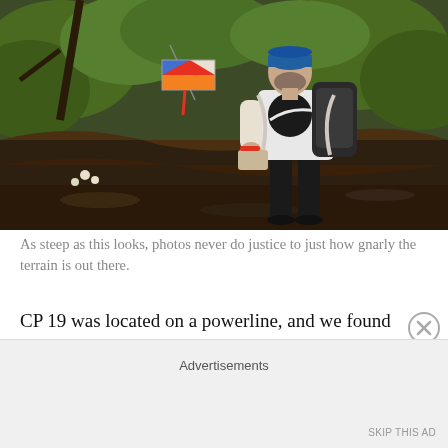[Figure (photo): A man wearing a blue headband, white and black jersey, and a backpack stands on a steep forested hillside. He appears to be checking or punching an orienteering control marker — a red and blue/white flag hanging from a branch. Dense green vegetation and muddy terrain visible in background.]
As steep as this looks, photos never do justice to just how gnarly the terrain is out there.
CP 19 was located on a powerline, and we found it easily. But we now faced yet another problem: A missing
Advertisements